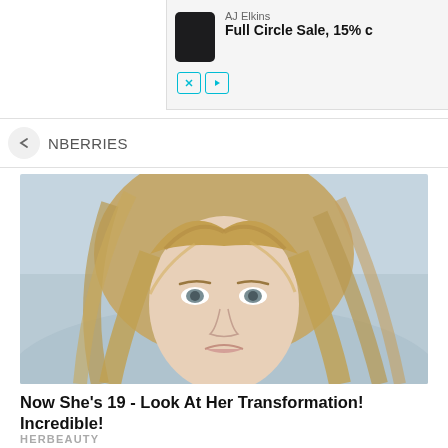[Figure (screenshot): Advertisement banner showing AJ Elkins product (dark canister) with text 'Full Circle Sale, 15% c...' and navigation controls]
NBERRIES
[Figure (photo): Close-up portrait of a young girl with long blonde hair with bangs, blue-grey eyes, against a blurred light blue background.]
Now She's 19 - Look At Her Transformation! Incredible!
HERBEAUTY